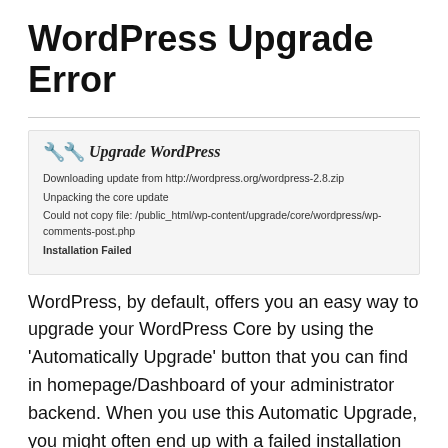WordPress Upgrade Error
[Figure (screenshot): WordPress admin upgrade screen showing: Upgrade WordPress heading with wrench icon, status lines: 'Downloading update from http://wordpress.org/wordpress-2.8.zip', 'Unpacking the core update', 'Could not copy file: /public_html/wp-content/upgrade/core/wordpress/wp-comments-post.php', 'Installation Failed']
WordPress, by default, offers you an easy way to upgrade your WordPress Core by using the 'Automatically Upgrade' button that you can find in homepage/Dashboard of your administrator backend. When you use this Automatic Upgrade, you might often end up with a failed installation notice that reads “Could not copy file: /public_html/../wp-content/upgrade/core/wordpress/..."